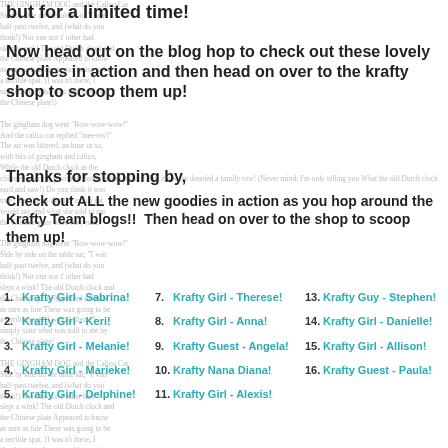but for a limited time!
Now head out on the blog hop to check out these lovely goodies in action and then head on over to the krafty shop to scoop them up!
Thanks for stopping by,
Check out ALL the new goodies in action as you hop around the Krafty Team blogs!!  Then head on over to the shop to scoop them up!
1. Krafty Girl - Sabrina!
2. Krafty Girl - Keri!
3. Krafty Girl - Melanie!
4. Krafty Girl - Marieke!
5. Krafty Girl - Delphine!
7. Krafty Girl - Therese!
8. Krafty Girl - Anna!
9. Krafty Guest - Angela!
10. Krafty Nana Diana!
11. Krafty Girl - Alexis!
13. Krafty Guy - Stephen!
14. Krafty Girl - Danielle!
15. Krafty Girl - Allison!
16. Krafty Guest - Paula!